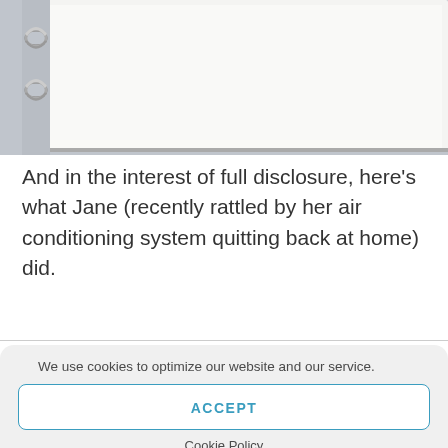[Figure (photo): Top portion of a notebook/binder with metal rings visible on the left side, white pages, against a grey background. Only the top portion is visible.]
And in the interest of full disclosure, here's what Jane (recently rattled by her air conditioning system quitting back at home) did.
We use cookies to optimize our website and our service.
ACCEPT
Cookie Policy